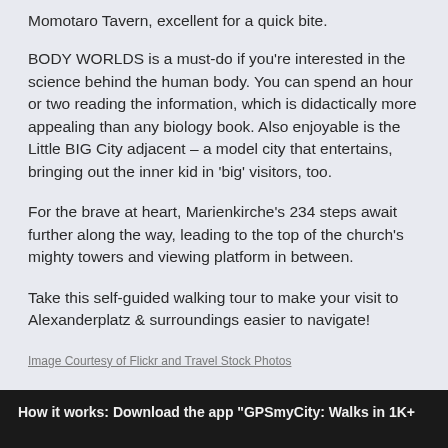Momotaro Tavern, excellent for a quick bite.
BODY WORLDS is a must-do if you’re interested in the science behind the human body. You can spend an hour or two reading the information, which is didactically more appealing than any biology book. Also enjoyable is the Little BIG City adjacent – a model city that entertains, bringing out the inner kid in ‘big’ visitors, too.
For the brave at heart, Marienkirche’s 234 steps await further along the way, leading to the top of the church’s mighty towers and viewing platform in between.
Take this self-guided walking tour to make your visit to Alexanderplatz & surroundings easier to navigate!
Image Courtesy of Flickr and Travel Stock Photos
How it works: Download the app “GPSmyCity: Walks in 1K+